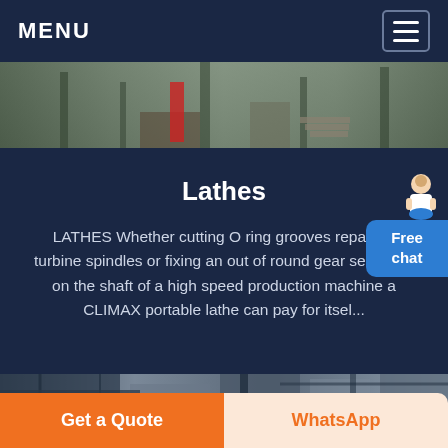MENU
[Figure (photo): Industrial facility exterior with equipment, stairs, and structures visible]
Lathes
LATHES Whether cutting O ring grooves repairing turbine spindles or fixing an out of round gear seat area on the shaft of a high speed production machine a CLIMAX portable lathe can pay for itsel...
Free chat
Chat Now
[Figure (photo): Industrial interior showing structural beams and equipment]
Get a Quote
WhatsApp